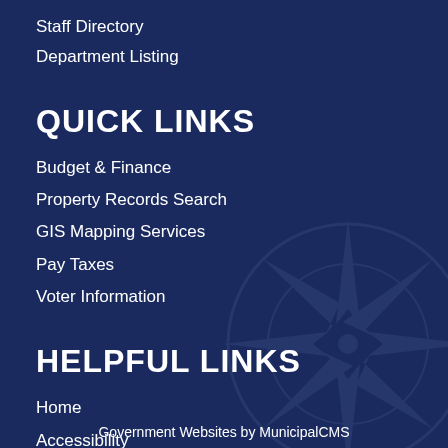Staff Directory
Department Listing
QUICK LINKS
Budget & Finance
Property Records Search
GIS Mapping Services
Pay Taxes
Voter Information
HELPFUL LINKS
Home
Accessibility
Site Map
FAQs
Government Websites by MunicipalCMS
Employee Portal